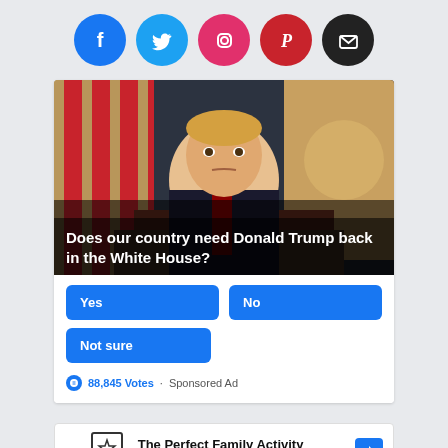[Figure (infographic): Social media share icons: Facebook (blue circle), Twitter (cyan circle), Instagram (pink circle), Pinterest (red circle), Email (black circle)]
[Figure (photo): Photo of Donald Trump seated at desk in Oval Office with American flag and Presidential seal flag in background. Overlay text reads: Does our country need Donald Trump back in the White House?]
Does our country need Donald Trump back in the White House?
Yes
No
Not sure
88,845 Votes · Sponsored Ad
[Figure (infographic): Advertisement banner for Topgolf: The Perfect Family Activity, with Topgolf logo and navigation arrow icon]